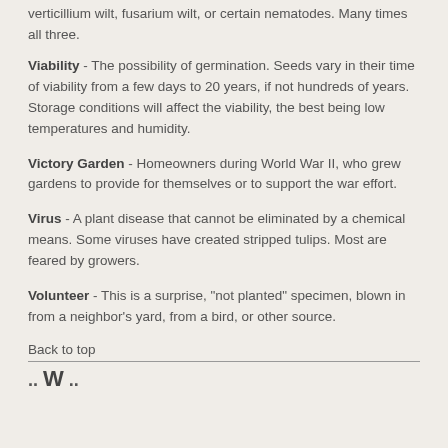verticillium wilt, fusarium wilt, or certain nematodes. Many times all three.
Viability - The possibility of germination. Seeds vary in their time of viability from a few days to 20 years, if not hundreds of years. Storage conditions will affect the viability, the best being low temperatures and humidity.
Victory Garden - Homeowners during World War II, who grew gardens to provide for themselves or to support the war effort.
Virus - A plant disease that cannot be eliminated by a chemical means. Some viruses have created stripped tulips. Most are feared by growers.
Volunteer - This is a surprise, "not planted" specimen, blown in from a neighbor's yard, from a bird, or other source.
Back to top
W